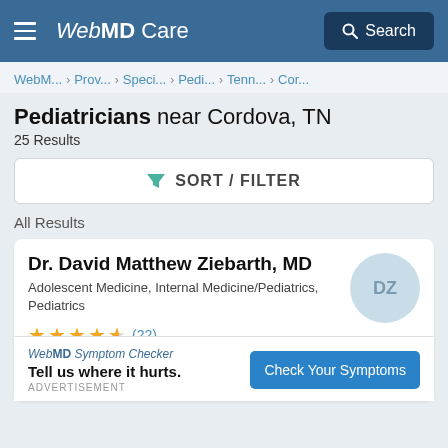WebMD Care  Search
WebM... > Prov... > Speci... > Pedi... > Tenn... > Cor...
Pediatricians near Cordova, TN
25 Results
SORT / FILTER
All Results
Dr. David Matthew Ziebarth, MD
Adolescent Medicine, Internal Medicine/Pediatrics, Pediatrics
★★★★½ (22)
37 [address partial]
1172 [address partial]
WebMD Symptom Checker
Tell us where it hurts.
ADVERTISEMENT
Check Your Symptoms